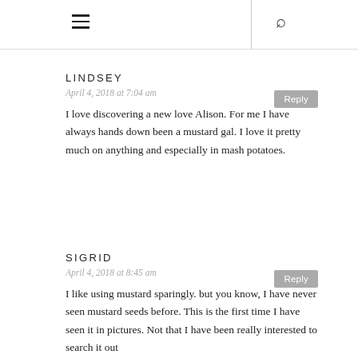LINDSEY
April 4, 2018 at 7:04 am
Reply
I love discovering a new love Alison. For me I have always hands down been a mustard gal. I love it pretty much on anything and especially in mash potatoes.
SIGRID
April 4, 2018 at 8:45 am
Reply
I like using mustard sparingly. but you know, I have never seen mustard seeds before. This is the first time I have seen it in pictures. Not that I have been really interested to search it out